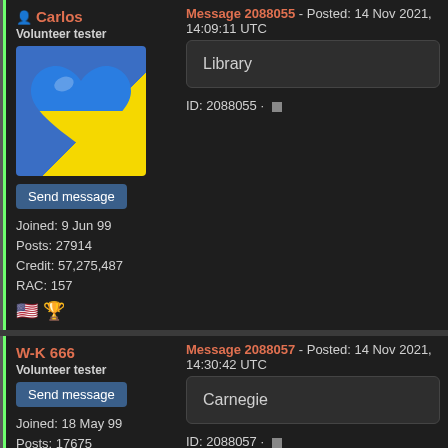Carlos
Volunteer tester
[Figure (photo): Ukrainian flag heart emoji avatar]
Send message
Joined: 9 Jun 99
Posts: 27914
Credit: 57,275,487
RAC: 157
Message 2088055 - Posted: 14 Nov 2021, 14:09:11 UTC
Library
ID: 2088055 ·
W-K 666
Volunteer tester
Send message
Joined: 18 May 99
Posts: 17675
Credit: 40,757,560
Message 2088057 - Posted: 14 Nov 2021, 14:30:42 UTC
Carnegie
ID: 2088057 ·